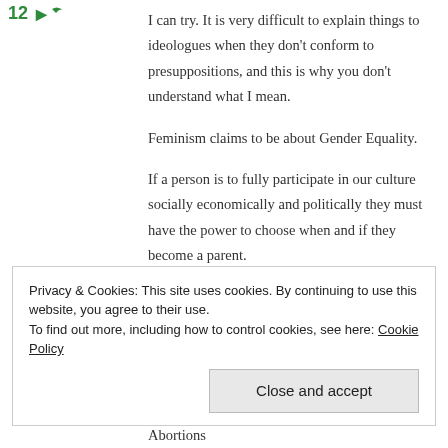[Figure (logo): Green logo with arrow/plant icon]
I can try. It is very difficult to explain things to ideologues when they don't conform to presuppositions, and this is why you don't understand what I mean.
Feminism claims to be about Gender Equality.
If a person is to fully participate in our culture socially economically and politically they must have the power to choose when and if they become a parent.
The choice to have sex IS NOT the choice to become a parent.
Privacy & Cookies: This site uses cookies. By continuing to use this website, you agree to their use.
To find out more, including how to control cookies, see here: Cookie Policy
Abortions